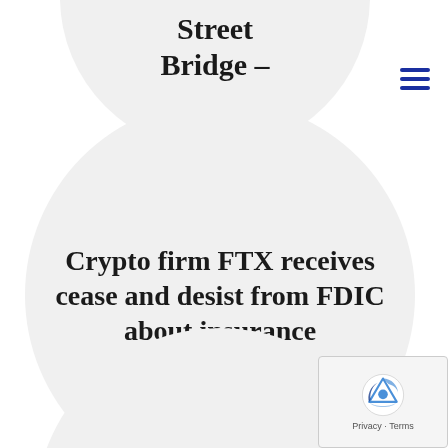[Figure (infographic): Circular card partially cut off at top with text 'Street Bridge –']
Street Bridge –
[Figure (infographic): Large circular card with article headline text about FTX and FDIC cease and desist]
Crypto firm FTX receives cease and desist from FDIC about insurance
[Figure (infographic): Circular card partially cut off at bottom with text about Texans Rally]
Texans Rally to Beat Rams 24-20 in 2nd Preseason Game –
[Figure (other): Hamburger menu icon in blue in top right corner]
[Figure (other): reCAPTCHA widget in bottom right corner showing Privacy · Terms]